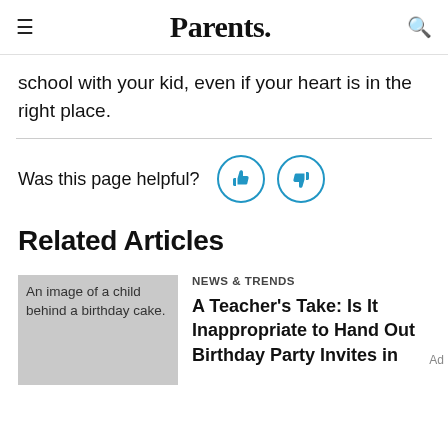Parents.
school with your kid, even if your heart is in the right place.
Was this page helpful?
Related Articles
An image of a child behind a birthday cake.
NEWS & TRENDS
A Teacher's Take: Is It Inappropriate to Hand Out Birthday Party Invites in